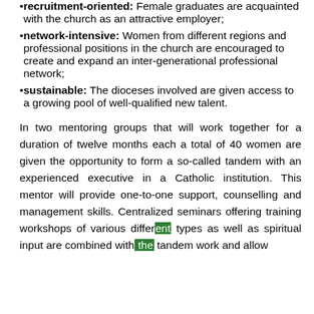recruitment-oriented: Female graduates are acquainted with the church as an attractive employer;
network-intensive: Women from different regions and professional positions in the church are encouraged to create and expand an inter-generational professional network;
sustainable: The dioceses involved are given access to a growing pool of well-qualified new talent.
In two mentoring groups that will work together for a duration of twelve months each a total of 40 women are given the opportunity to form a so-called tandem with an experienced executive in a Catholic institution. This mentor will provide one-to-one support, counselling and management skills. Centralized seminars offering training workshops of various different types as well as spiritual input are combined with the tandem work and allow